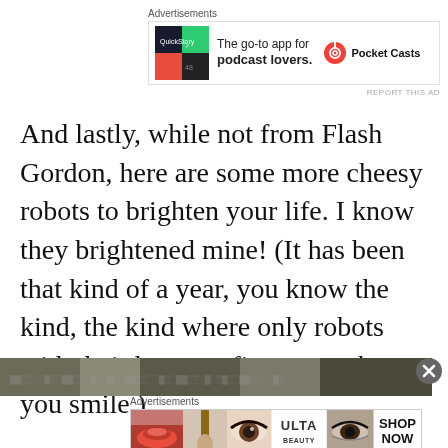[Figure (other): Top advertisement banner for Pocket Casts app: 'The go-to app for podcast lovers.' with app icon and Pocket Casts logo]
And lastly, while not from Flash Gordon, here are some more cheesy robots to brighten your life. I know they brightened mine! (It has been that kind of a year, you know the kind, the kind where only robots with their butts on fire can make you smile.)
[Figure (photo): Partial photo strip showing a textured/patterned image at the bottom of the content area]
[Figure (other): Bottom advertisement banner for Ulta Beauty: shows lips, makeup brush, eye, Ulta Beauty logo, eye close-up, and SHOP NOW button]